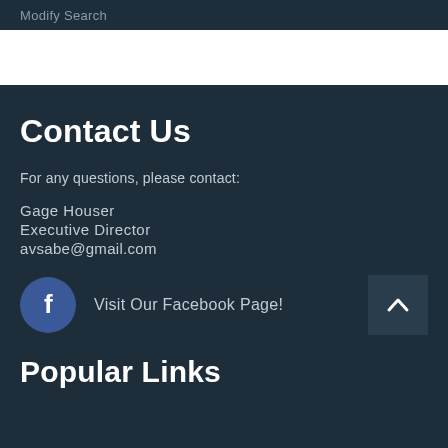Modify Search
Contact Us
For any questions, please contact:
Gage Houser
Executive Director
avsabe@gmail.com
Visit Our Facebook Page!
Popular Links